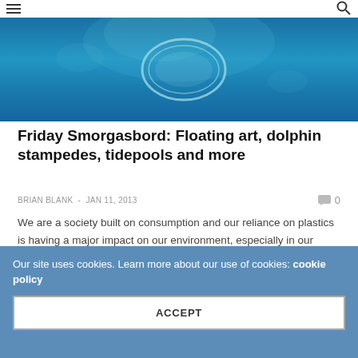Navigation and search icons
[Figure (photo): Underwater ocean scene with teal/blue water and a translucent circular shape (possibly a jellyfish or plastic ring) visible near the surface]
Friday Smorgasbord: Floating art, dolphin stampedes, tidepools and more
BRIAN BLANK - JAN 11, 2013
We are a society built on consumption and our reliance on plastics is having a major impact on our environment, especially in our waterways and oceans. We've know about the floating islands of plastic, like the Great Pacific Garbage Patch, and other horror stories…
Our site uses cookies. Learn more about our use of cookies: cookie policy
ACCEPT